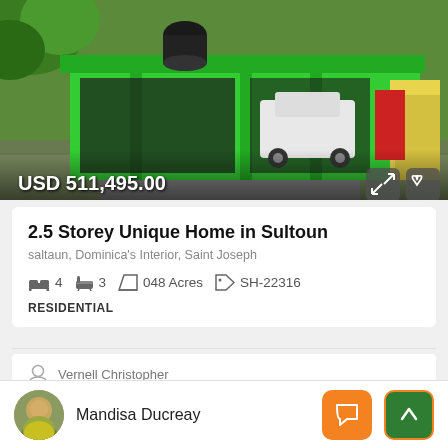[Figure (photo): Green house exterior with garage and two cars visible, lush tropical vegetation in background, water tank on roof]
USD 511,495.00
2.5 Storey Unique Home in Sultoun
saltaun, Dominica's Interior, Saint Joseph
4   3   048 Acres   SH-22316
RESIDENTIAL
Vernell Christopher
[Figure (photo): Partial view of next property listing showing blue sky with clouds]
Mandisa Ducreay